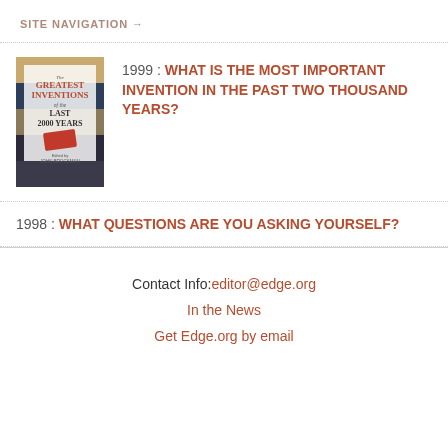SITE NAVIGATION →
1999 : WHAT IS THE MOST IMPORTANT INVENTION IN THE PAST TWO THOUSAND YEARS?
[Figure (illustration): Book cover: The Greatest Inventions of the Last 2000 Years, edited by John Brockman]
1998 : WHAT QUESTIONS ARE YOU ASKING YOURSELF?
Contact Info:editor@edge.org
In the News
Get Edge.org by email